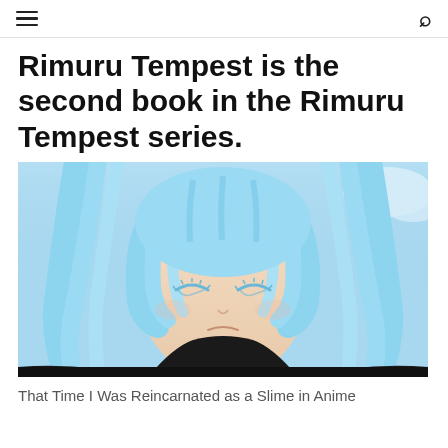≡  🔍
Rimuru Tempest is the second book in the Rimuru Tempest series.
[Figure (photo): Anime character Rimuru Tempest with light blue hair, eyes closed, wearing dark clothing, with a blue sky background.]
That Time I Was Reincarnated as a Slime in Anime